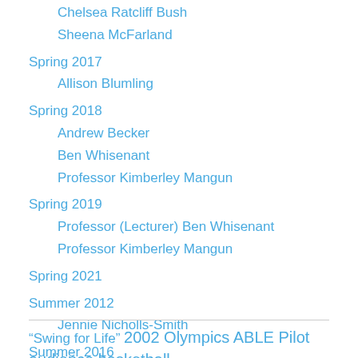Chelsea Ratcliff Bush
Sheena McFarland
Spring 2017
Allison Blumling
Spring 2018
Andrew Becker
Ben Whisenant
Professor Kimberley Mangun
Spring 2019
Professor (Lecturer) Ben Whisenant
Professor Kimberley Mangun
Spring 2021
Summer 2012
Jennie Nicholls-Smith
Summer 2016
Chelsea Ratcliff Bush
“Swing for Life” 2002 Olympics ABLE Pilot audience basketball